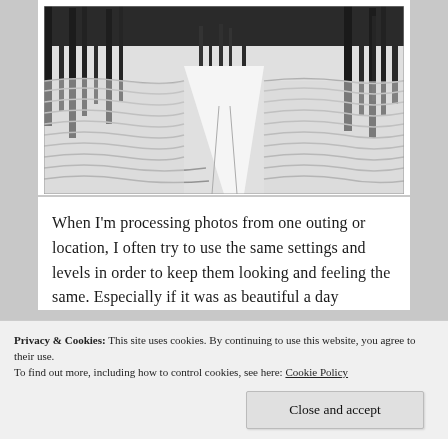[Figure (photo): Black and white photograph of a snow-covered forest path or ski trail with undulating wave-like snow patterns on both sides, tall trees in the background]
When I'm processing photos from one outing or location, I often try to use the same settings and levels in order to keep them looking and feeling the same. Especially if it was as beautiful a day
Privacy & Cookies: This site uses cookies. By continuing to use this website, you agree to their use.
To find out more, including how to control cookies, see here: Cookie Policy
Close and accept